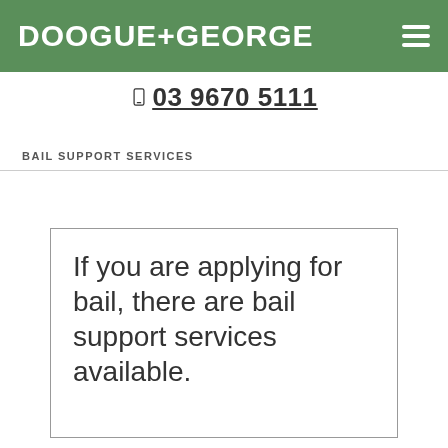DOOGUE+GEORGE
03 9670 5111
BAIL SUPPORT SERVICES
If you are applying for bail, there are bail support services available.